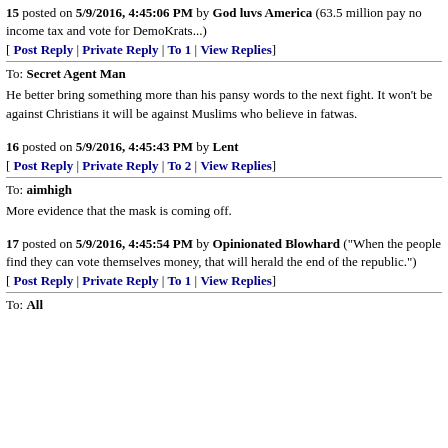15 posted on 5/9/2016, 4:45:06 PM by God luvs America (63.5 million pay no income tax and vote for DemoKrats...)
[ Post Reply | Private Reply | To 1 | View Replies]
To: Secret Agent Man
He better bring something more than his pansy words to the next fight. It won’t be against Christians it will be against Muslims who believe in fatwas.
16 posted on 5/9/2016, 4:45:43 PM by Lent
[ Post Reply | Private Reply | To 2 | View Replies]
To: aimhigh
More evidence that the mask is coming off.
17 posted on 5/9/2016, 4:45:54 PM by Opinionated Blowhard ("When the people find they can vote themselves money, that will herald the end of the republic.")
[ Post Reply | Private Reply | To 1 | View Replies]
To: All